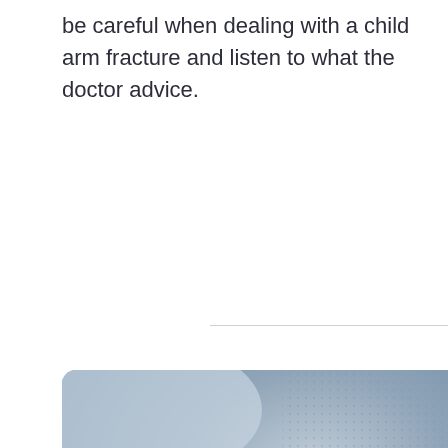be careful when dealing with a child arm fracture and listen to what the doctor advice.
[Figure (photo): Close-up photo of a child's arm in a white medical cast, with the fist clenched, resting on a surface with yellow and white striped fabric visible at the bottom and a grey dotted fabric in the background.]